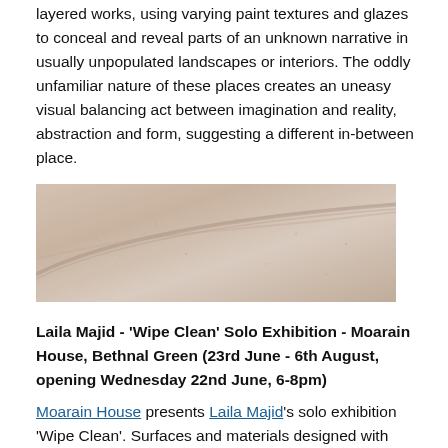layered works, using varying paint textures and glazes to conceal and reveal parts of an unknown narrative in usually unpopulated landscapes or interiors. The oddly unfamiliar nature of these places creates an uneasy visual balancing act between imagination and reality, abstraction and form, suggesting a different in-between place.
[Figure (photo): Close-up photograph of a textured pale pink/beige surface showing diagonal ridges and creases, resembling skin or a canvas texture.]
Laila Majid - 'Wipe Clean' Solo Exhibition - Moarain House, Bethnal Green (23rd June - 6th August, opening Wednesday 22nd June, 6-8pm)
Moarain House presents Laila Majid's solo exhibition 'Wipe Clean'. Surfaces and materials designed with